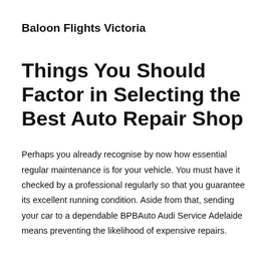Baloon Flights Victoria
Things You Should Factor in Selecting the Best Auto Repair Shop
Perhaps you already recognise by now how essential regular maintenance is for your vehicle. You must have it checked by a professional regularly so that you guarantee its excellent running condition. Aside from that, sending your car to a dependable BPBAuto Audi Service Adelaide means preventing the likelihood of expensive repairs.